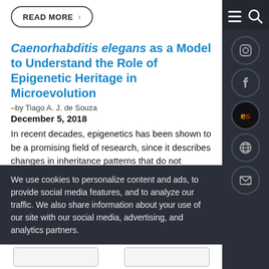READ MORE >
Caenorhabditis elegans as a Model to Understand the Role of Epigenetic Heritage in Microevolution
–by Tiago A. J. de Souza
December 5, 2018
In recent decades, epigenetics has been shown to be a promising field of research, since it describes changes in inheritance patterns that do not involve DNA modifications and are related to interactions between the organism and the environment. Epigenetic marks are chemical changes that occur in
We use cookies to personalize content and ads, to provide social media features, and to analyze our traffic. We also share information about your use of our site with our social media, advertising, and analytics partners.